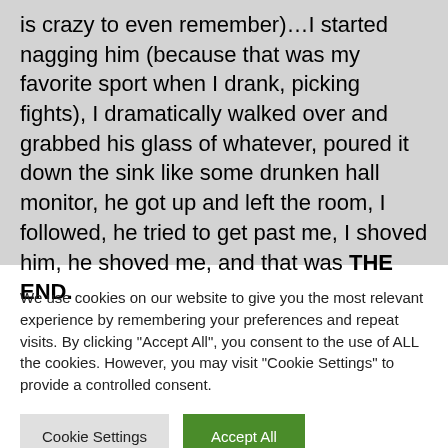is crazy to even remember)…I started nagging him (because that was my favorite sport when I drank, picking fights), I dramatically walked over and grabbed his glass of whatever, poured it down the sink like some drunken hall monitor, he got up and left the room, I followed, he tried to get past me, I shoved him, he shoved me, and that was THE END.
We use cookies on our website to give you the most relevant experience by remembering your preferences and repeat visits. By clicking "Accept All", you consent to the use of ALL the cookies. However, you may visit "Cookie Settings" to provide a controlled consent.